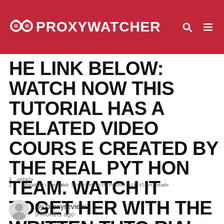PROXYWATCHER
HE LINK BELOW: WATCH NOW THIS TUTORIAL HAS A RELATED VIDEO COURSE CREATED BY THE REAL PYTHON TEAM. WATCH IT TOGETHER WITH THE WRITTEN TUTORIAL TO DEEPEN YOUR UNDERSTANDING: WEB SCRAPING WITH BEAUTIFUL SOUP AND PYTHON
[Figure (screenshot): Code snippet showing Python web scraping code with BeautifulSoup]
By proxyreview
9 months ago